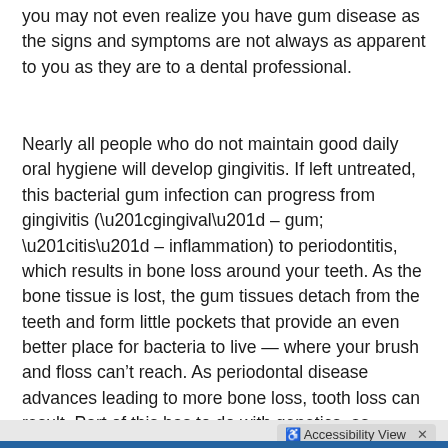you may not even realize you have gum disease as the signs and symptoms are not always as apparent to you as they are to a dental professional.
Nearly all people who do not maintain good daily oral hygiene will develop gingivitis. If left untreated, this bacterial gum infection can progress from gingivitis (“gingival” – gum; “itis” – inflammation) to periodontitis, which results in bone loss around your teeth. As the bone tissue is lost, the gum tissues detach from the teeth and form little pockets that provide an even better place for bacteria to live — where your brush and floss can’t reach. As periodontal disease advances leading to more bone loss, tooth loss can result. Part of this has to do with genetics, as periodontal disease tends to run in families. The good news is that periodontal disease can be controlled, even at more advanced stages.